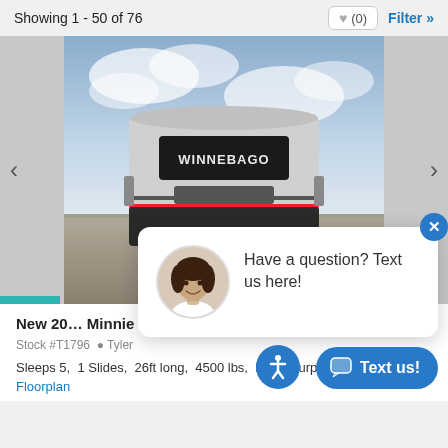Showing 1 - 50 of 76
[Figure (photo): Rear view of a white Winnebago travel trailer RV parked on gravel with cloudy sky background]
New 20... Minnie 2...
Stock #T1796  Tyler
Sleeps 5,  1 Slides,  26ft long,  4500 lbs,  Bu... Murphy Bed,  ...View Floorplan
[Figure (photo): Chat popup with female agent avatar. Text: Have a question? Text us here!]